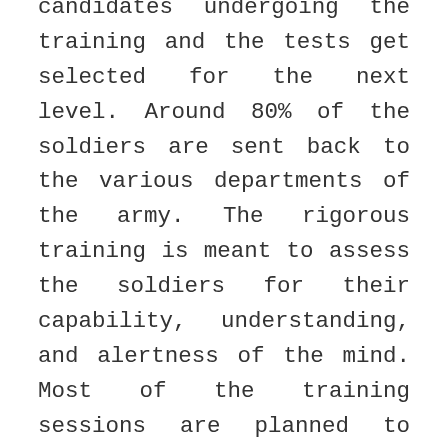candidates undergoing the training and the tests get selected for the next level. Around 80% of the soldiers are sent back to the various departments of the army. The rigorous training is meant to assess the soldiers for their capability, understanding, and alertness of the mind. Most of the training sessions are planned to analyze the candidates for mental, physical, and moral abilities. Also, these tests are used to find the leadership skills, attentiveness, team spirit, and nationalism among the candidates. The candidates have to appear for all the examinations and need to have a good score only to get selected for the higher level.
Once the soldiers complete the three months of